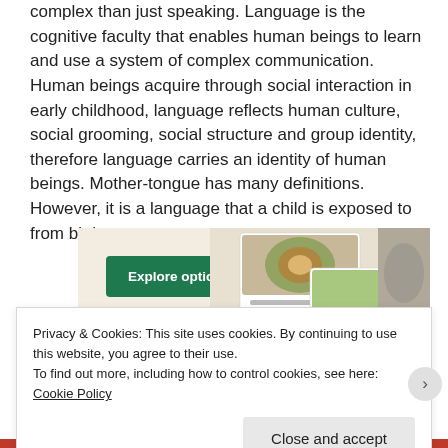complex than just speaking. Language is the cognitive faculty that enables human beings to learn and use a system of complex communication. Human beings acquire through social interaction in early childhood, language reflects human culture, social grooming, social structure and group identity, therefore language carries an identity of human beings. Mother-tongue has many definitions. However, it is a language that a child is exposed to from birth.
[Figure (screenshot): Advertisement banner with beige background showing an 'Explore options' green button on the left and food/recipe app screenshots on the right]
Privacy & Cookies: This site uses cookies. By continuing to use this website, you agree to their use. To find out more, including how to control cookies, see here: Cookie Policy